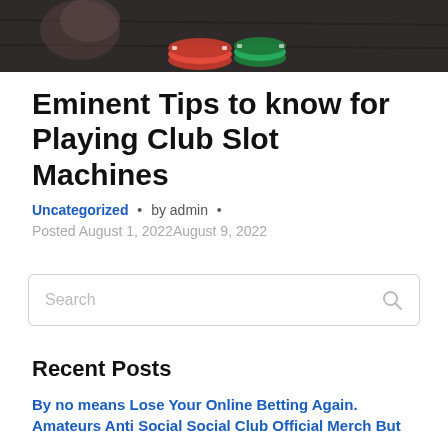[Figure (photo): Top portion of a photo showing casino chips (red and green) on a dark surface, partially cropped at the top of the page.]
Eminent Tips to know for Playing Club Slot Machines
Uncategorized • by admin • Posted August 1, 2022August 9, 2022
[Figure (other): Search input box with placeholder text 'Search' and a magnifying glass icon on the right.]
Recent Posts
By no means Lose Your Online Betting Again.
Amateurs Anti Social Social Club Official Merch But